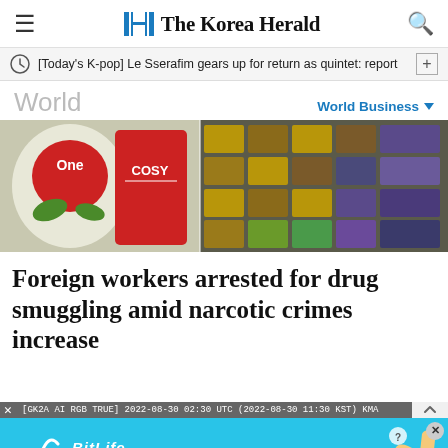The Korea Herald
[Today's K-pop] Le Sserafim gears up for return as quintet: report
World
World Business
[Figure (photo): Bags of snack food (One brand rice crackers, Cosy brand biscuits) alongside rows of stacked packaged goods, likely contraband drugs hidden in food packaging, displayed on a surface.]
Foreign workers arrested for drug smuggling amid narcotic crimes increase
[GK2A AI RGB TRUE] 2022-08-30 02:30 UTC (2022-08-30 11:30 KST) KMA
[Figure (infographic): BitLife advertisement banner: 'NOW WITH GOD MODE' on cyan background with cartoon hand pointing and question mark icon, with X close button.]